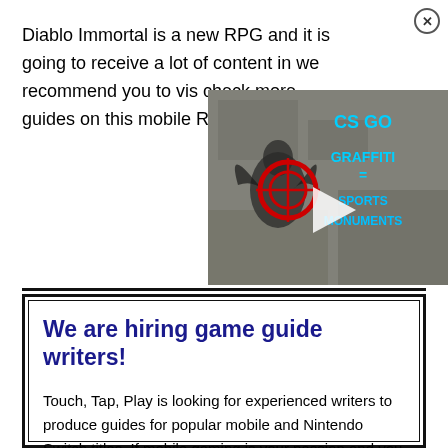Diablo Immortal is a new RPG and it is going to receive a lot of content in we recommend you to vis check more guides on this mobile RPGs.
[Figure (screenshot): Video thumbnail showing CS GO Graffiti = Esports Monuments with a play button overlay, graffiti-style artwork on a grey concrete wall with a target/crosshair circle]
We are hiring game guide writers!
Touch, Tap, Play is looking for experienced writers to produce guides for popular mobile and Nintendo Switch titles. If mobile gaming is your passion and you want to get paid to create guides, you're in the right